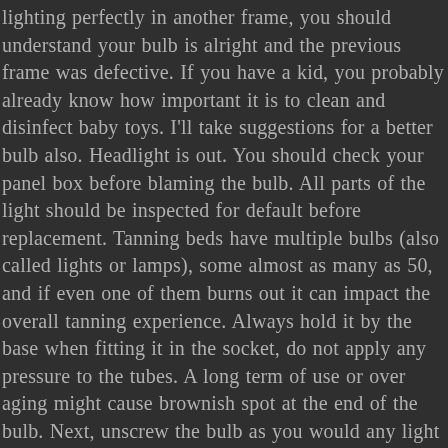lighting perfectly in another frame, you should understand your bulb is alright and the previous frame was defective. If you have a kid, you probably already know how important it is to clean and disinfect baby toys. I'll take suggestions for a better bulb also. Headlight is out. You should check your panel box before blaming the bulb. All parts of the light should be inspected for default before replacement. Tanning beds have multiple bulbs (also called lights or lamps), some almost as many as 50, and if even one of them burns out it can impact the overall tanning experience. Always hold it by the base when fitting it in the socket, do not apply any pressure to the tubes. A long term of use or over aging might cause brownish spot at the end of the bulb. Next, unscrew the bulb as you would any light bulb. The multimeter tests the continuity of your circuit, which is necessary for a ... The light fixtures in our homes are remarkably effective and may work for years with little attention other than replacing an occasional burned-out light bulb.Sometimes, though, a light fixture that's